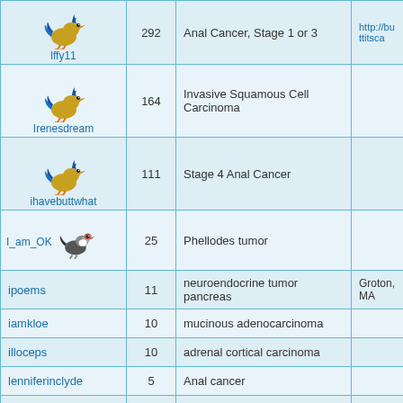| Username | Posts | Diagnosis | Location/URL |
| --- | --- | --- | --- |
| lffy11 | 292 | Anal Cancer, Stage 1 or 3 | http://buttitsca... |
| Irenesdream | 164 | Invasive Squamous Cell Carcinoma |  |
| ihavebuttwhat | 111 | Stage 4 Anal Cancer |  |
| I_am_OK | 25 | Phellodes tumor |  |
| ipoems | 11 | neuroendocrine tumor pancreas | Groton, MA |
| iamkloe | 10 | mucinous adenocarcinoma |  |
| illoceps | 10 | adrenal cortical carcinoma |  |
| lenniferinclyde | 5 | Anal cancer |  |
| igddtlv | 4 | breast adenoid cystic carnicoma | Netherlands |
| IStnger | 4 | High Grade Sarcoma in left breast. Pathology report called it phyllodes tumor |  |
| Irishblue | 4 | Micro cystic adnexal carcinoma |  |